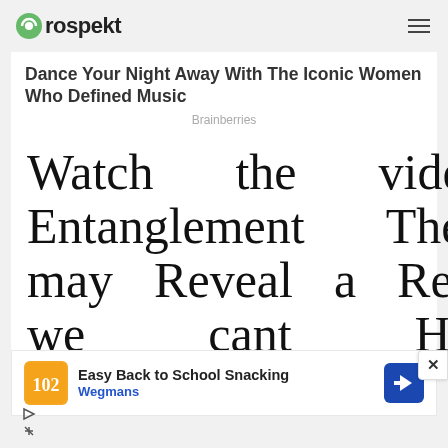Prospekt
Dance Your Night Away With The Iconic Women Who Defined Music
Brainberries
Watch the video: Entanglement Theory may Reveal a Reality we cant Handle
Easy Back to School Snacking Wegmans